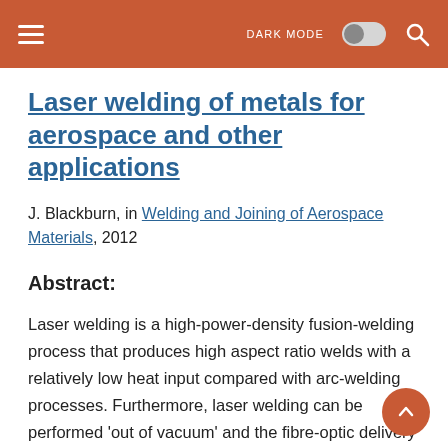DARK MODE [toggle] [search]
Laser welding of metals for aerospace and other applications
J. Blackburn, in Welding and Joining of Aerospace Materials, 2012
Abstract:
Laser welding is a high-power-density fusion-welding process that produces high aspect ratio welds with a relatively low heat input compared with arc-welding processes. Furthermore, laser welding can be performed 'out of vacuum' and the fibre-optic delivery of near-infrared solid-state laser beams provides increased flexibility compared with other joining technologies. Consequently,